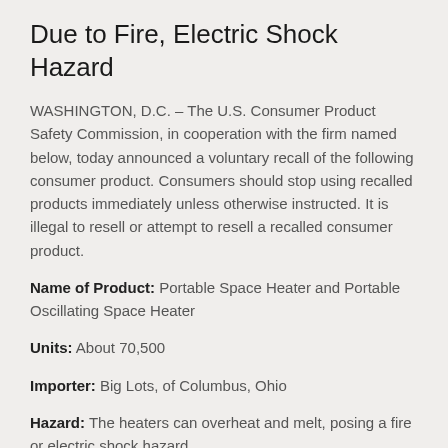Due to Fire, Electric Shock Hazard
WASHINGTON, D.C. – The U.S. Consumer Product Safety Commission, in cooperation with the firm named below, today announced a voluntary recall of the following consumer product. Consumers should stop using recalled products immediately unless otherwise instructed. It is illegal to resell or attempt to resell a recalled consumer product.
Name of Product: Portable Space Heater and Portable Oscillating Space Heater
Units: About 70,500
Importer: Big Lots, of Columbus, Ohio
Hazard: The heaters can overheat and melt, posing a fire or electric shock hazard.